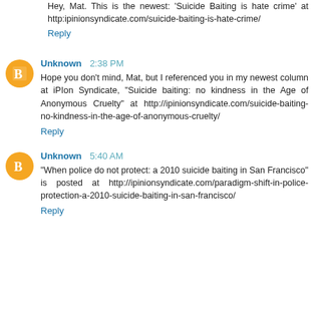Hey, Mat. This is the newest: 'Suicide Baiting is hate crime' at http:ipinionsyndicate.com/suicide-baiting-is-hate-crime/
Reply
Unknown  2:38 PM
Hope you don't mind, Mat, but I referenced you in my newest column at iPIon Syndicate, "Suicide baiting: no kindness in the Age of Anonymous Cruelty" at http://ipinionsyndicate.com/suicide-baiting-no-kindness-in-the-age-of-anonymous-cruelty/
Reply
Unknown  5:40 AM
"When police do not protect: a 2010 suicide baiting in San Francisco" is posted at http://ipinionsyndicate.com/paradigm-shift-in-police-protection-a-2010-suicide-baiting-in-san-francisco/
Reply